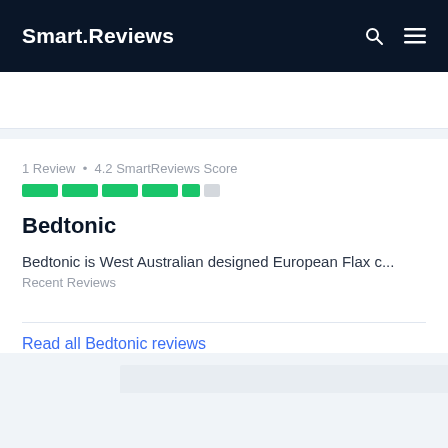Smart.Reviews
1 Review • 4.2 SmartReviews Score
Bedtonic
Bedtonic is West Australian designed European Flax c...
Recent Reviews
Read all Bedtonic reviews